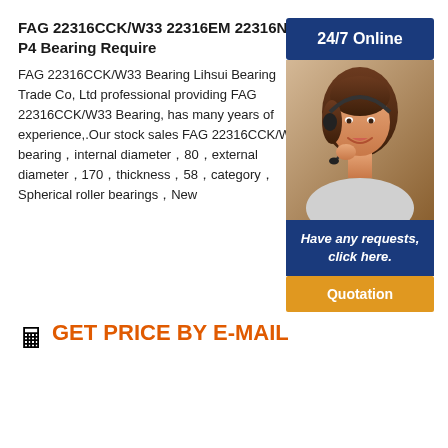FAG 22316CCK/W33 22316EM 22316NR P4 Bearing Require
FAG 22316CCK/W33 Bearing Lihsui Bearing Trade Co, Ltd professional providing FAG 22316CCK/W33 Bearing, has many years of experience,.Our stock sales FAG 22316CCK/W33 bearing，internal diameter，80，external diameter，170，thickness，58，category，Spherical roller bearings，New
[Figure (infographic): 24/7 Online button banner in dark blue]
[Figure (photo): Customer service representative woman with headset smiling]
Have any requests, click here.
Quotation
GET PRICE BY E-MAIL